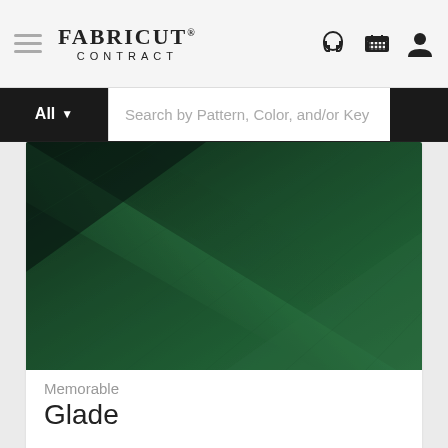FABRICUT CONTRACT
Search by Pattern, Color, and/or Key
[Figure (photo): Close-up photograph of dark green fabric folded diagonally, showing smooth textile texture in a deep forest green color.]
Memorable
Glade